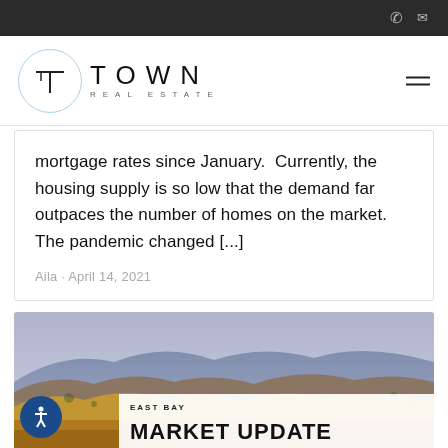Town Real Estate — navigation bar with phone and mail icons
[Figure (logo): Town Real Estate logo: circle with stylized T, TOWN in large spaced letters, REAL ESTATE below]
mortgage rates since January.  Currently, the housing supply is so low that the demand far outpaces the number of homes on the market. The pandemic changed [...]
Aila · April 14, 2021
[Figure (photo): Landscape photo of rolling hills with golden and brown tones under a pale sky, overlaid with white box showing EAST BAY MARKET UPDATE text]